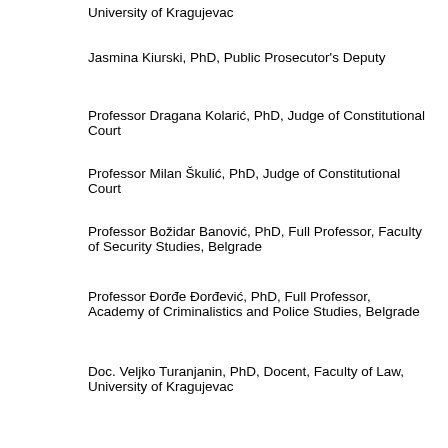University of Kragujevac
Jasmina Kiurski, PhD, Public Prosecutor's Deputy
Professor Dragana Kolarić, PhD, Judge of Constitutional Court
Professor Milan Škulić, PhD, Judge of Constitutional Court
Professor Božidar Banović, PhD, Full Professor, Faculty of Security Studies, Belgrade
Professor Đorđe Đorđević, PhD, Full Professor, Academy of Criminalistics and Police Studies, Belgrade
Doc. Veljko Turanjanin, PhD, Docent, Faculty of Law, University of Kragujevac
Doc. dr Dragana Čvorović, Docent, Academy of Criminalistics and Police Studies, Belgrade
Professor Vladan Joldžić, PhD, Institute of Criminological and Sociological Research